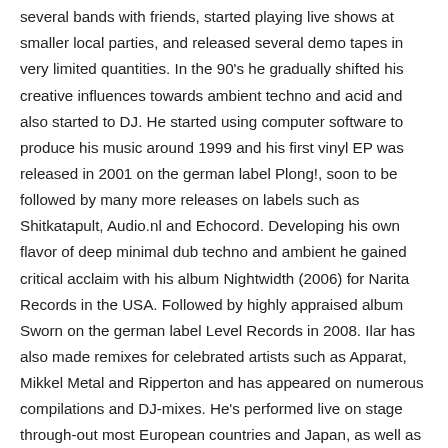inspired by the early industrial and EBM wave he formed several bands with friends, started playing live shows at smaller local parties, and released several demo tapes in very limited quantities. In the 90's he gradually shifted his creative influences towards ambient techno and acid and also started to DJ. He started using computer software to produce his music around 1999 and his first vinyl EP was released in 2001 on the german label Plong!, soon to be followed by many more releases on labels such as Shitkatapult, Audio.nl and Echocord. Developing his own flavor of deep minimal dub techno and ambient he gained critical acclaim with his album Nightwidth (2006) for Narita Records in the USA. Followed by highly appraised album Sworn on the german label Level Records in 2008. Ilar has also made remixes for celebrated artists such as Apparat, Mikkel Metal and Ripperton and has appeared on numerous compilations and DJ-mixes. He's performed live on stage through-out most European countries and Japan, as well as doing a small tour with Notch Festival in China in 2008.